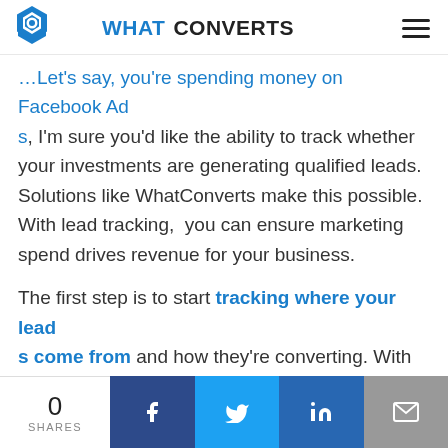WHATCONVERTS
...Let's say, you're spending money on Facebook Ads, I'm sure you'd like the ability to track whether your investments are generating qualified leads. Solutions like WhatConverts make this possible. With lead tracking, you can ensure marketing spend drives revenue for your business.
The first step is to start tracking where your leads come from and how they're converting. With this data, you'll be able to fine-tune your marketing campaigns to maximize lead generation. Better marketing starts with gathering data to
0 SHARES | Facebook | Twitter | LinkedIn | Email